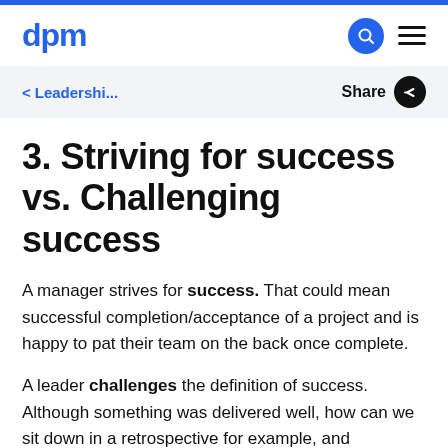dpm
< Leadershi...   Share
3. Striving for success vs. Challenging success
A manager strives for success. That could mean successful completion/acceptance of a project and is happy to pat their team on the back once complete.
A leader challenges the definition of success. Although something was delivered well, how can we sit down in a retrospective for example, and